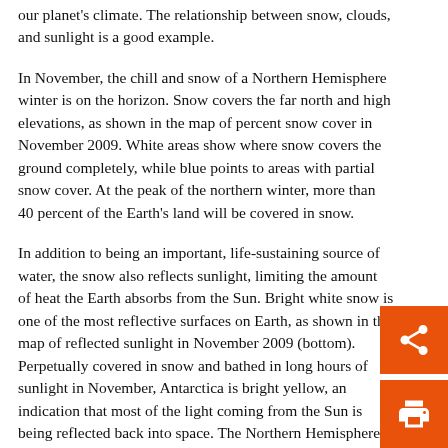our planet's climate. The relationship between snow, clouds, and sunlight is a good example.
In November, the chill and snow of a Northern Hemisphere winter is on the horizon. Snow covers the far north and high elevations, as shown in the map of percent snow cover in November 2009. White areas show where snow covers the ground completely, while blue points to areas with partial snow cover. At the peak of the northern winter, more than 40 percent of the Earth's land will be covered in snow.
In addition to being an important, life-sustaining source of water, the snow also reflects sunlight, limiting the amount of heat the Earth absorbs from the Sun. Bright white snow is one of the most reflective surfaces on Earth, as shown in the map of reflected sunlight in November 2009 (bottom). Perpetually covered in snow and bathed in long hours of sunlight in November, Antarctica is bright yellow, an indication that most of the light coming from the Sun is being reflected back into space. The Northern Hemisphere is dark blue because little light reaches the north during the winter, so little is being reflected back into space.
A band of yellow circles the equator in the energy map. This an bright spots apart from Antarctica are clouds. Like snow, clouds are more reflective. The next giving notice a some of cloud cover in November d